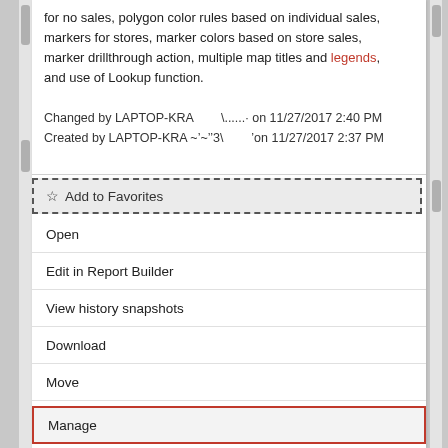for no sales, polygon color rules based on individual sales, markers for stores, marker colors based on store sales, marker drillthrough action, multiple map titles and legends, and use of Lookup function.
Changed by LAPTOP-KRA \....... on 11/27/2017 2:40 PM
Created by LAPTOP-KRA ~'~''3\ ' on 11/27/2017 2:37 PM
☆ Add to Favorites
Open
Edit in Report Builder
View history snapshots
Download
Move
Delete
Manage